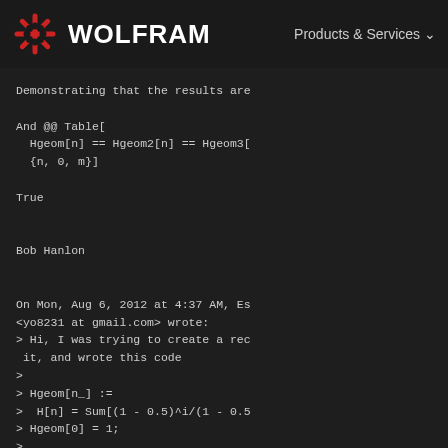WOLFRAM   Products & Services
Demonstrating that the results are
And @@ Table[
  Hgeom[n] == Hgeom2[n] == Hgeom3[
  {n, 0, m}]
True
Bob Hanlon
On Mon, Aug 6, 2012 at 4:37 AM, Es
<yo8231 at gmail.com> wrote:
> Hi, I was trying to create a rec
 it, and wrote this code
>
> Hgeom[n_] :=
>  H[n] = Sum[(1 - 0.5)^i/(1 - 0.5
> Hgeom[0] = 1;
>
> However, when I calculate Hgeom[
 I ask for the information about H
d.
>
> Have you any idea what could hav